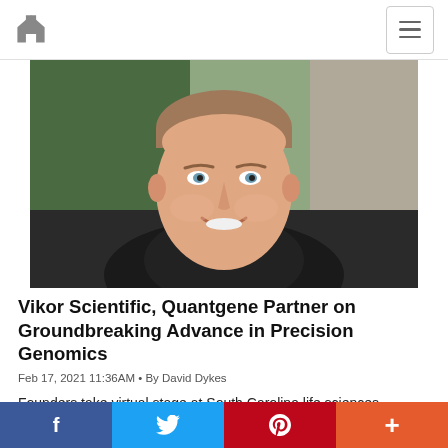Home | Menu
[Figure (photo): Headshot of a smiling middle-aged man with short brown hair, blue eyes, wearing a dark suit jacket, photographed against a blurred green/neutral background.]
Vikor Scientific, Quantgene Partner on Groundbreaking Advance in Precision Genomics
Feb 17, 2021 11:36AM • By David Dykes
Founders take virtual stage at South Carolina life sciences
f  Twitter  P  +